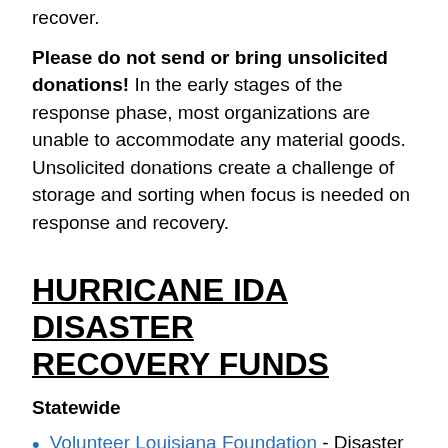recover.
Please do not send or bring unsolicited donations! In the early stages of the response phase, most organizations are unable to accommodate any material goods. Unsolicited donations create a challenge of storage and sorting when focus is needed on response and recovery.
HURRICANE IDA DISASTER RECOVERY FUNDS
Statewide
Volunteer Louisiana Foundation - Disaster Fund (Long-term Recovery)
Feed Louisiana